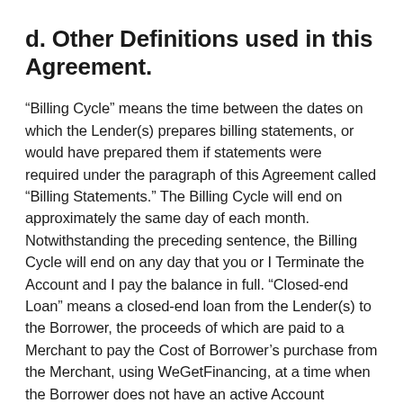d. Other Definitions used in this Agreement.
“Billing Cycle” means the time between the dates on which the Lender(s) prepares billing statements, or would have prepared them if statements were required under the paragraph of this Agreement called “Billing Statements.” The Billing Cycle will end on approximately the same day of each month. Notwithstanding the preceding sentence, the Billing Cycle will end on any day that you or I Terminate the Account and I pay the balance in full. “Closed-end Loan” means a closed-end loan from the Lender(s) to the Borrower, the proceeds of which are paid to a Merchant to pay the Cost of Borrower’s purchase from the Merchant, using WeGetFinancing, at a time when the Borrower does not have an active Account